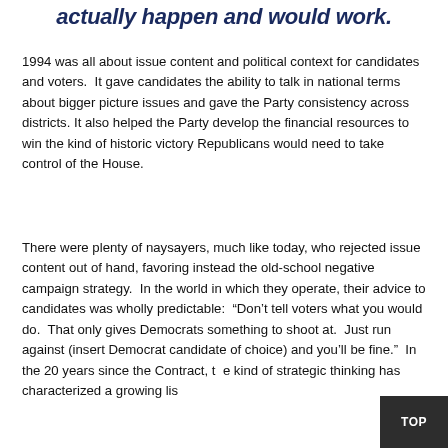actually happen and would work.
1994 was all about issue content and political context for candidates and voters.  It gave candidates the ability to talk in national terms about bigger picture issues and gave the Party consistency across districts. It also helped the Party develop the financial resources to win the kind of historic victory Republicans would need to take control of the House.
There were plenty of naysayers, much like today, who rejected issue content out of hand, favoring instead the old-school negative campaign strategy.  In the world in which they operate, their advice to candidates was wholly predictable:  “Don’t tell voters what you would do.  That only gives Democrats something to shoot at.  Just run against (insert Democrat candidate of choice) and you’ll be fine.”  In the 20 years since the Contract, the kind of strategic thinking has characterized a growing list